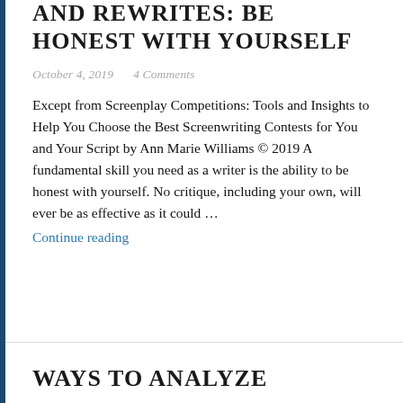AND REWRITES: BE HONEST WITH YOURSELF
October 4, 2019   4 Comments
Except from Screenplay Competitions: Tools and Insights to Help You Choose the Best Screenwriting Contests for You and Your Script by Ann Marie Williams © 2019 A fundamental skill you need as a writer is the ability to be honest with yourself. No critique, including your own, will ever be as effective as it could …
Continue reading
WAYS TO ANALYZE